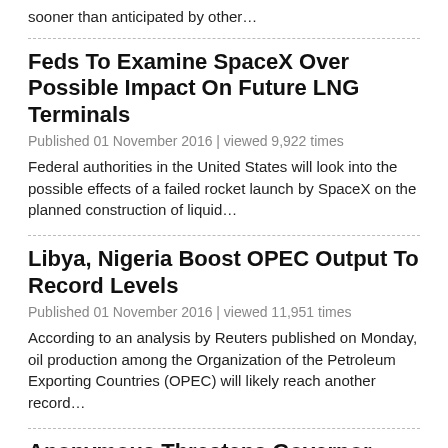sooner than anticipated by other…
Feds To Examine SpaceX Over Possible Impact On Future LNG Terminals
Published 01 November 2016 | viewed 9,922 times
Federal authorities in the United States will look into the possible effects of a failed rocket launch by SpaceX on the planned construction of liquid…
Libya, Nigeria Boost OPEC Output To Record Levels
Published 01 November 2016 | viewed 11,951 times
According to an analysis by Reuters published on Monday, oil production among the Organization of the Petroleum Exporting Countries (OPEC) will likely reach another record…
Anonymous Threatens Governor Over Dakota Access Protests
Published 31 October 2016 | viewed 17,101 times